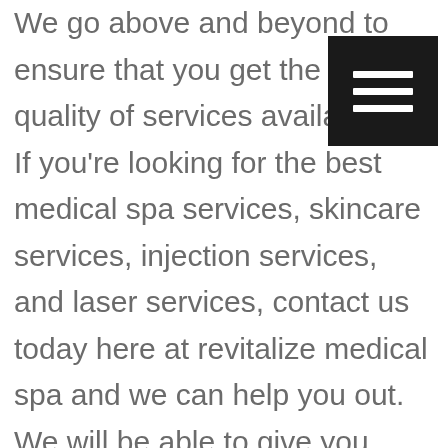We go above and beyond to ensure that you get the highest quality of services available. If you're looking for the best medical spa services, skincare services, injection services, and laser services, contact us today here at revitalize medical spa and we can help you out. We will be able to give you incredible benefits to your problems. If you are Looking for services that can help you ate more gracefully, reduce fine lines and wrinkles, give you natural-looking results, and great experience of start to finish, contact us today and we can help you out. For more information on what we can offer you, please visit our clinic...
[Figure (other): Hamburger menu icon button — black square with three white horizontal bars]